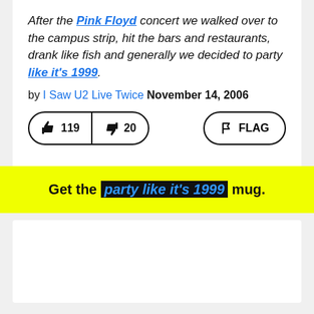After the Pink Floyd concert we walked over to the campus strip, hit the bars and restaurants, drank like fish and generally we decided to party like it's 1999.
by I Saw U2 Live Twice November 14, 2006
[Figure (other): Voting buttons: thumbs up 119, thumbs down 20, and a FLAG button]
Get the party like it's 1999 mug.
[Figure (other): White empty card area at bottom]